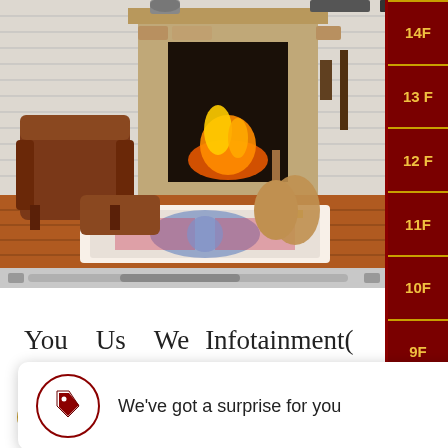[Figure (photo): Interior room with a stone fireplace with fire burning, a brown leather chair and ottoman, decorative rug on hardwood floor, musical instrument (lute/oud), framed artwork on walls]
14F
13 F
12 F
11F
10F
9F
6F
You   Us   We   Infotainment(
We've got a surprise for you
Sign In /
Vision
Facebook